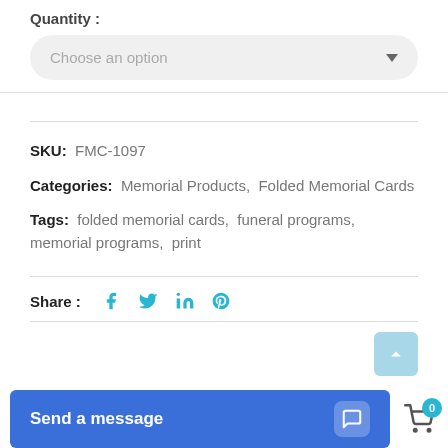Quantity:
Choose an option
SKU:  FMC-1097
Categories:  Memorial Products,  Folded Memorial Cards
Tags:  folded memorial cards,  funeral programs,  memorial programs,  print
Share:
Send a message